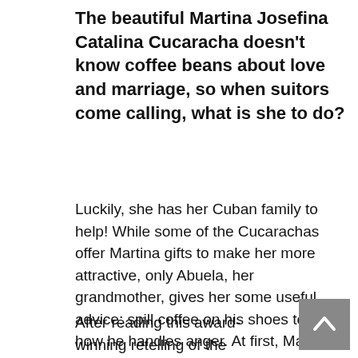The beautiful Martina Josefina Catalina Cucaracha doesn't know coffee beans about love and marriage, so when suitors come calling, what is she to do?
Luckily, she has her Cuban family to help! While some of the Cucarachas offer Martina gifts to make her more attractive, only Abuela, her grandmother, gives her some useful advice: spill coffee on his shoes to see how he handles anger. At first, Martina is skeptical of her Abuela's suggestion, but when suitor after suitor fails the Coffee Test, she wonders if a little green cockroach can ever find true love.
After reading this award-winning retelling of the Cuban folktale, readers will never look at a